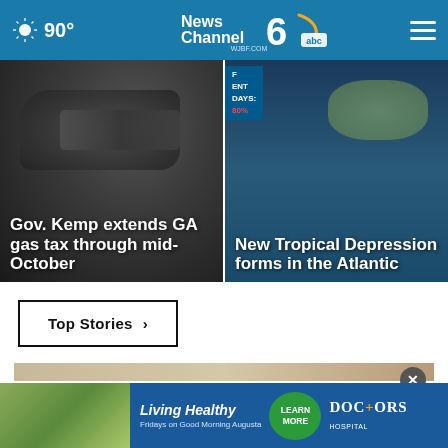90° News Channel 6 abc WJBF.COM
[Figure (photo): News card left: close-up of a firearm, with headline 'Gov. Kemp extends GA gas tax through mid-October']
[Figure (photo): News card right: tropical weather map/satellite image with weather overlay text showing 'OF ENT DAYS: 80%' and headline 'New Tropical Depression forms in the Atlantic']
Top Stories ›
[Figure (photo): Advertisement: Living Healthy - Fridays on Good Morning Augusta - Doctors Hospital. Learn More button shown.]